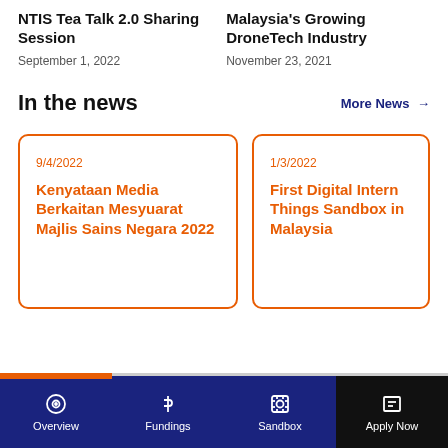NTIS Tea Talk 2.0 Sharing Session
September 1, 2022
Malaysia's Growing DroneTech Industry
November 23, 2021
In the news
More News →
9/4/2022
Kenyataan Media Berkaitan Mesyuarat Majlis Sains Negara 2022
1/3/2022
First Digital Internet Things Sandbox in Malaysia
Overview | Fundings | Sandbox | Apply Now